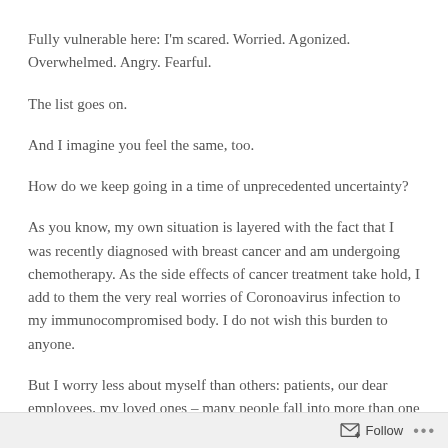Fully vulnerable here: I'm scared. Worried. Agonized. Overwhelmed. Angry. Fearful.
The list goes on.
And I imagine you feel the same, too.
How do we keep going in a time of unprecedented uncertainty?
As you know, my own situation is layered with the fact that I was recently diagnosed with breast cancer and am undergoing chemotherapy. As the side effects of cancer treatment take hold, I add to them the very real worries of Coronoavirus infection to my immunocompromised body. I do not wish this burden to anyone.
But I worry less about myself than others: patients, our dear employees, my loved ones – many people fall into more than one of
Follow ...